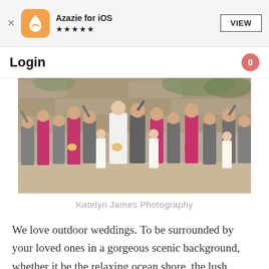Azazie for iOS ★★★★★
Login
[Figure (photo): Wedding party group photo outdoors against a stone wall. Bridesmaids in magenta/red dresses, groomsmen in gray suits, bride in white, flower girls in white dresses. Everyone celebrating with arms raised.]
Katelyn James Photography
We love outdoor weddings. To be surrounded by your loved ones in a gorgeous scenic background, whether it be the relaxing ocean shore, the lush